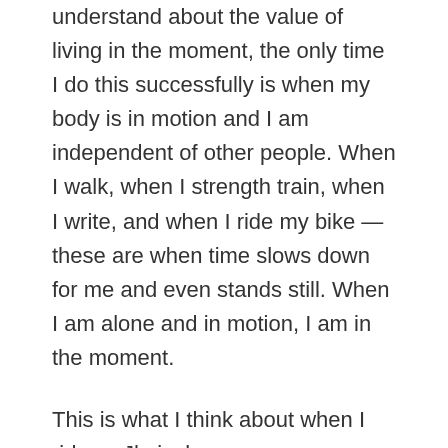understand about the value of living in the moment, the only time I do this successfully is when my body is in motion and I am independent of other people. When I walk, when I strength train, when I write, and when I ride my bike — these are when time slows down for me and even stands still. When I am alone and in motion, I am in the moment.
This is what I think about when I ride…. Jhciacb
This Week By The Numbers. Today's ride not has not taken place yet, but the week should come out as follows…